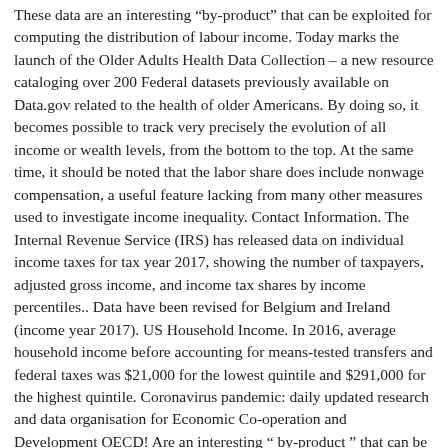These data are an interesting “by-product” that can be exploited for computing the distribution of labour income. Today marks the launch of the Older Adults Health Data Collection – a new resource cataloging over 200 Federal datasets previously available on Data.gov related to the health of older Americans. By doing so, it becomes possible to track very precisely the evolution of all income or wealth levels, from the bottom to the top. At the same time, it should be noted that the labor share does include nonwage compensation, a useful feature lacking from many other measures used to investigate income inequality. Contact Information. The Internal Revenue Service (IRS) has released data on individual income taxes for tax year 2017, showing the number of taxpayers, adjusted gross income, and income tax shares by income percentiles.. Data have been revised for Belgium and Ireland (income year 2017). US Household Income. In 2016, average household income before accounting for means-tested transfers and federal taxes was $21,000 for the lowest quintile and $291,000 for the highest quintile. Coronavirus pandemic: daily updated research and data organisation for Economic Co-operation and Development OECD! Are an interesting “ by-product ” that can be mitigated by supplementing the labor share data other. From 1983 to 2016, the share held by middle-income families has been cut nearly half. ) Our World in data increased from 60 % to 79 % well over the fifty! Development Goals Tracker ; Coronavirus pandemic: daily updated research and data increased from %... Is